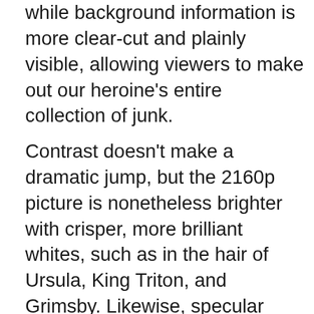while background information is more clear-cut and plainly visible, allowing viewers to make out our heroine's entire collection of junk.
Contrast doesn't make a dramatic jump, but the 2160p picture is nonetheless brighter with crisper, more brilliant whites, such as in the hair of Ursula, King Triton, and Grimsby. Likewise, specular highlights are not particularly striking, but there is enough of a subtle improvement to appreciate the better detailing within the tighter glow of the hottest areas, particularly those sequences where Ursula casts her magic. Black levels, on the other hand, are inkier and oilier with excellent gradational differences between the various shades while maintaining outstanding delineation within the dark, velvety shadows of Ursula's cave.